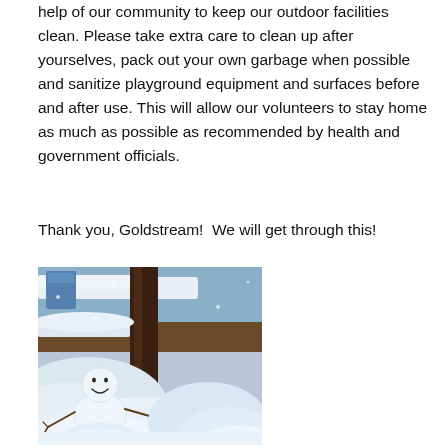help of our community to keep our outdoor facilities clean. Please take extra care to clean up after yourselves, pack out your own garbage when possible and sanitize playground equipment and surfaces before and after use. This will allow our volunteers to stay home as much as possible as recommended by health and government officials.
Thank you, Goldstream!  We will get through this!
[Figure (photo): A small snowman with a smiley face made of twigs, surrounded by snow, with wooden structures and snow-covered surfaces in the background.]